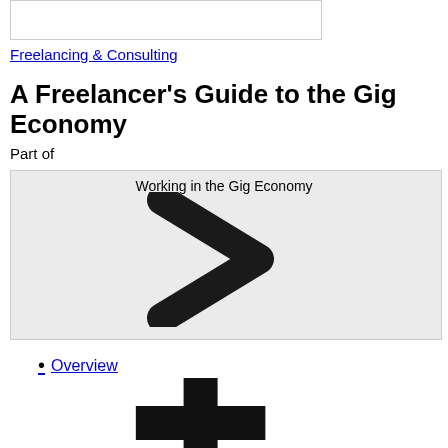[Figure (other): White rectangle image box with border at top of page]
Freelancing & Consulting
A Freelancer's Guide to the Gig Economy
Part of
[Figure (illustration): Light gray box with text 'Working in the Gig Economy' and a large bold right-angle chevron/arrow pointing right]
Overview
[Figure (illustration): Large black plus/cross symbol icon]